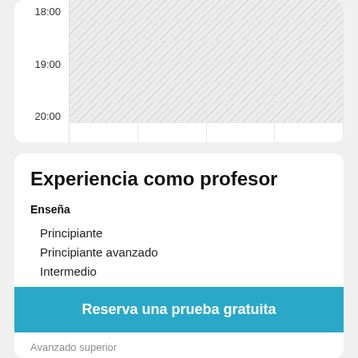[Figure (other): Partial weekly schedule grid showing time slots 18:00, 19:00, 20:00 with hatched/unavailable cells across 4 columns]
Experiencia como profesor
Enseña
Principiante
Principiante avanzado
Intermedio
Reserva una prueba gratuita
Avanzado superior